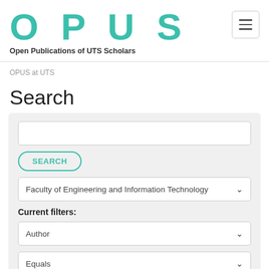OPUS — Open Publications of UTS Scholars
OPUS at UTS
Search
[Figure (screenshot): Search interface with text input, SEARCH button, faculty dropdown showing 'Faculty of Engineering and Information Technology', Current filters label, Author dropdown, Equals dropdown, and Samali B text field]